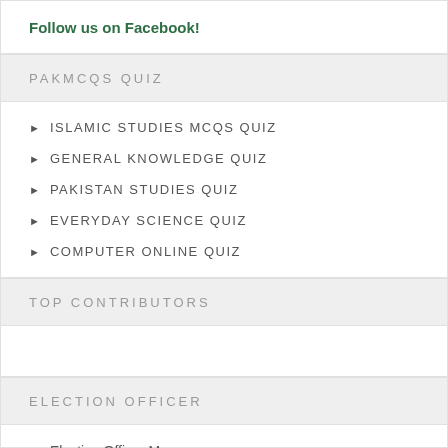Follow us on Facebook!
PAKMCQS QUIZ
ISLAMIC STUDIES MCQS QUIZ
GENERAL KNOWLEDGE QUIZ
PAKISTAN STUDIES QUIZ
EVERYDAY SCIENCE QUIZ
COMPUTER ONLINE QUIZ
TOP CONTRIBUTORS
ELECTION OFFICER
Election Officer Mcqs